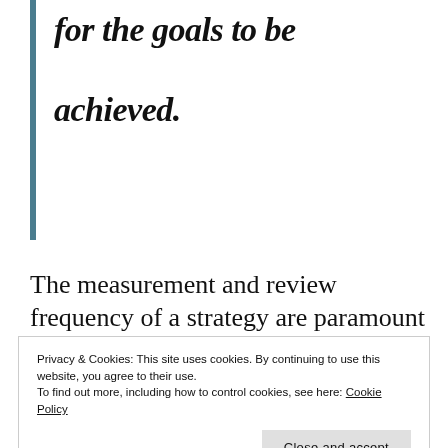for the goals to be achieved.
The measurement and review frequency of a strategy are paramount to the success of it.
strategy requires?
Privacy & Cookies: This site uses cookies. By continuing to use this website, you agree to their use. To find out more, including how to control cookies, see here: Cookie Policy
Close and accept